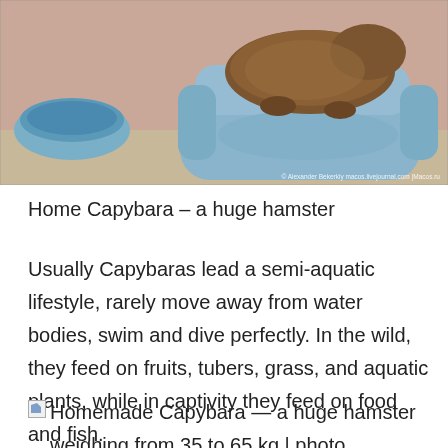[Figure (photo): A capybara sitting on a blue armchair, with a blue circular pool/basin visible on the left. Pink wall in the background. Watermark text: © Alexander Bekerkiy macos.livejournal.com |Macos.ru]
Home Capybara – a huge hamster
Usually Capybaras lead a semi-aquatic lifestyle, rarely move away from water bodies, swim and dive perfectly. In the wild, they feed on fruits, tubers, grass, and aquatic plants, while in captivity they feed on food and fish.
Homemade Capybara — a huge hamster weighing from 35 to 65 kg | photo